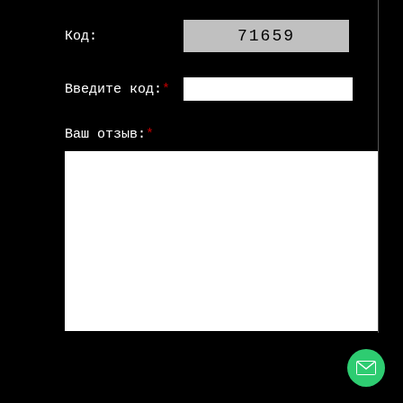Код: 71659
Введите код:*
Ваш отзыв:*
[Figure (screenshot): Web form with CAPTCHA code 71659, text input for code, textarea for review, and submit button 'Оставить отзыв']
Оставить отзыв